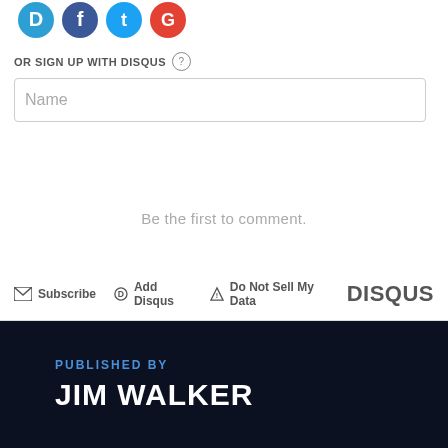[Figure (logo): Social media login icons: Disqus (blue), Facebook (blue), Twitter (blue), Google (red)]
OR SIGN UP WITH DISQUS ?
Name
Be the first to comment.
Subscribe  Add Disqus  Do Not Sell My Data  DISQUS
PUBLISHED BY
JIM WALKER